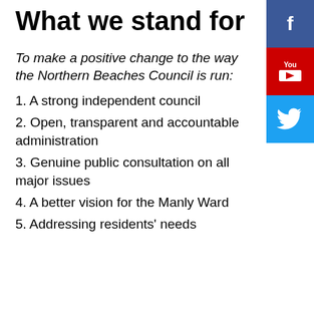What we stand for
To make a positive change to the way the Northern Beaches Council is run:
1. A strong independent council
2. Open, transparent and accountable administration
3. Genuine public consultation on all major issues
4. A better vision for the Manly Ward
5. Addressing residents' needs
[Figure (logo): Facebook circular icon (blue)]
[Figure (logo): Twitter circular icon (light blue)]
[Figure (logo): YouTube circular icon (red)]
[Figure (logo): Facebook square icon (dark blue, top right)]
[Figure (logo): YouTube square icon (red, top right)]
[Figure (logo): Twitter square icon (light blue, top right)]